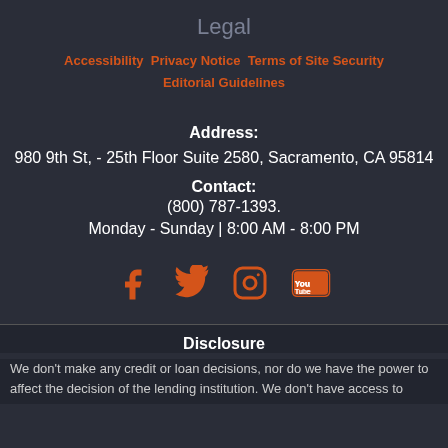Legal
Accessibility Privacy Notice Terms of Site Security Editorial Guidelines
Address:
980 9th St, - 25th Floor Suite 2580, Sacramento, CA 95814
Contact:
(800) 787-1393.
Monday - Sunday | 8:00 AM - 8:00 PM
[Figure (infographic): Social media icons: Facebook, Twitter, Instagram, YouTube in orange]
Disclosure
We don't make any credit or loan decisions, nor do we have the power to affect the decision of the lending institution. We don't have access to